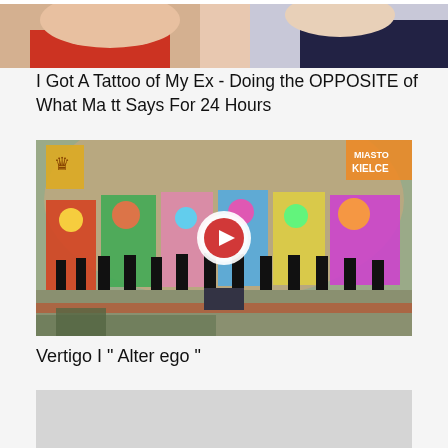[Figure (photo): Top portion of a photo showing two people, one in a red top, against a white background — partially cropped thumbnail]
I Got A Tattoo of My Ex - Doing the OPPOSITE of What Matt Says For 24 Hours
[Figure (photo): A group of dancers in black outfits performing on an outdoor stage decorated with colorful painted artwork panels and balloons. A play button overlay is visible in the center. Banners in the background including one reading 'Miasto Kielce'.]
Vertigo I " Alter ego "
[Figure (photo): Partially visible thumbnail image — gray/light colored, content not fully visible]